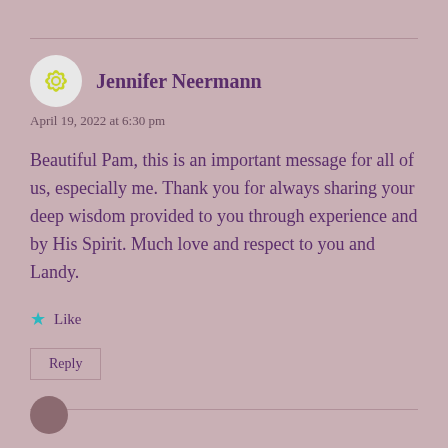Jennifer Neermann
April 19, 2022 at 6:30 pm
Beautiful Pam, this is an important message for all of us, especially me. Thank you for always sharing your deep wisdom provided to you through experience and by His Spirit. Much love and respect to you and Landy.
Like
Reply